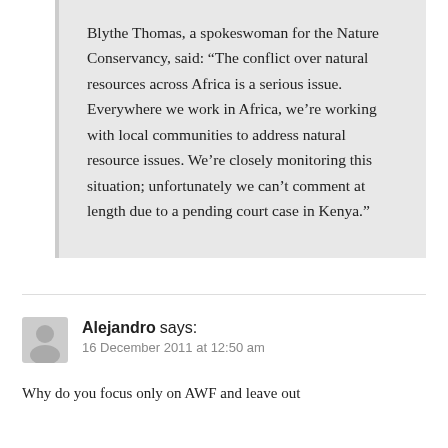Blythe Thomas, a spokeswoman for the Nature Conservancy, said: “The conflict over natural resources across Africa is a serious issue. Everywhere we work in Africa, we’re working with local communities to address natural resource issues. We’re closely monitoring this situation; unfortunately we can’t comment at length due to a pending court case in Kenya.”
Alejandro says:
16 December 2011 at 12:50 am
Why do you focus only on AWF and leave out